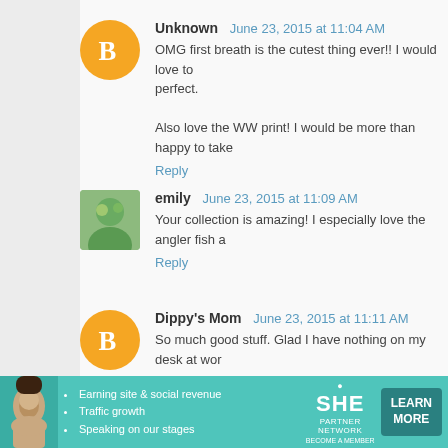Unknown June 23, 2015 at 11:04 AM
OMG first breath is the cutest thing ever!! I would love to perfect.

Also love the WW print! I would be more than happy to take
Reply
emily June 23, 2015 at 11:09 AM
Your collection is amazing! I especially love the angler fish a
Reply
Dippy's Mom June 23, 2015 at 11:11 AM
So much good stuff. Glad I have nothing on my desk at wor
Reply
LEAH June 23, 2015 at 11:17 AM
Love the art, Jen! Hope you and Lily are feeling better
[Figure (infographic): Ad banner for SHE Partner Network with bullet points: Earning site & social revenue, Traffic growth, Speaking on our stages. Teal/green background with woman photo, SHE logo, and LEARN MORE button.]